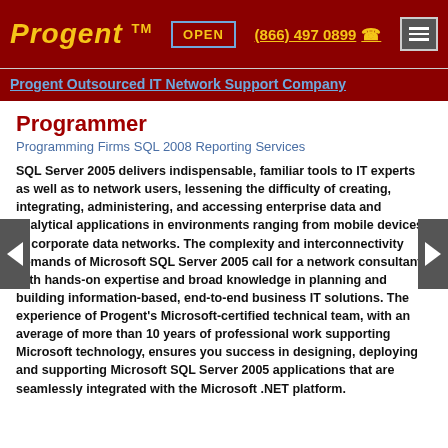Progent TM | OPEN | (866) 497 0899 | menu
Progent Outsourced IT Network Support Company
Programmer
Programming Firms SQL 2008 Reporting Services
SQL Server 2005 delivers indispensable, familiar tools to IT experts as well as to network users, lessening the difficulty of creating, integrating, administering, and accessing enterprise data and analytical applications in environments ranging from mobile devices to corporate data networks. The complexity and interconnectivity demands of Microsoft SQL Server 2005 call for a network consultant with hands-on expertise and broad knowledge in planning and building information-based, end-to-end business IT solutions. The experience of Progent's Microsoft-certified technical team, with an average of more than 10 years of professional work supporting Microsoft technology, ensures you success in designing, deploying and supporting Microsoft SQL Server 2005 applications that are seamlessly integrated with the Microsoft .NET platform.